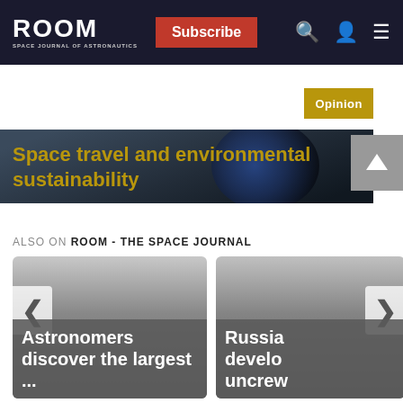ROOM | Subscribe
[Figure (photo): Space/Earth image with Opinion badge overlay]
Space travel and environmental sustainability
ALSO ON ROOM - THE SPACE JOURNAL
[Figure (photo): Card: Astronomers discover the largest ...]
[Figure (photo): Card: Russia develop uncrew...]